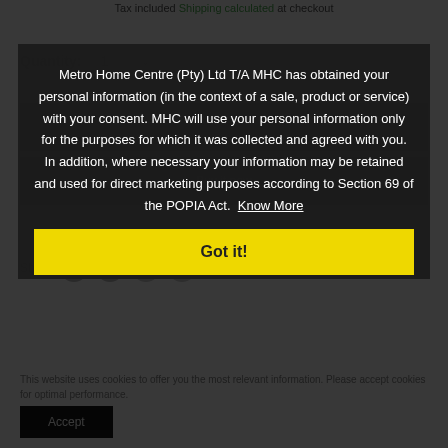Tax included Shipping calculated at checkout
Quantity: 1
Metro Home Centre (Pty) Ltd T/A MHC has obtained your personal information (in the context of a sale, product or service) with your consent. MHC will use your personal information only for the purposes for which it was collected and agreed with you. In addition, where necessary your information may be retained and used for direct marketing purposes according to Section 69 of the POPIA Act. Know More
Got it!
Share
This website uses cookies to offer you the most relevant information. Please accept cookies for optimal performance.
Accept